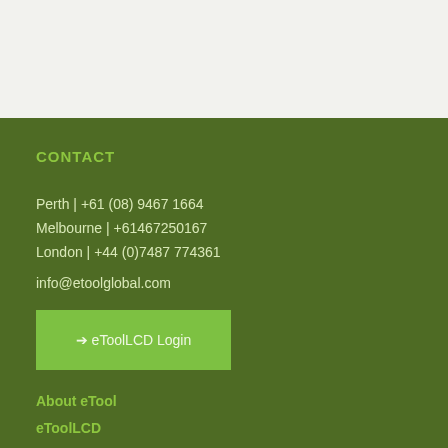CONTACT
Perth | +61 (08) 9467 1664
Melbourne | +61467250167
London | +44 (0)7487 774361
info@etoolglobal.com
➔ eToolLCD Login
About eTool
eToolLCD